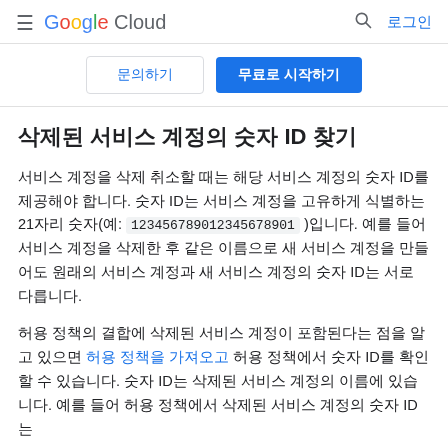≡ Google Cloud  🔍 로그인
문의하기   무료로 시작하기
삭제된 서비스 계정의 숫자 ID 찾기
서비스 계정을 삭제 취소할 때는 해당 서비스 계정의 숫자 ID를 제공해야 합니다. 숫자 ID는 서비스 계정을 고유하게 식별하는 21자리 숫자(예: 123456789012345678901 )입니다. 예를 들어 서비스 계정을 삭제한 후 같은 이름으로 새 서비스 계정을 만들어도 원래의 서비스 계정과 새 서비스 계정의 숫자 ID는 서로 다릅니다.
허용 정책의 결합에 삭제된 서비스 계정이 포함된다는 점을 알고 있으면 허용 정책을 가져오고 허용 정책에서 숫자 ID를 확인할 수 있습니다. 숫자 ID는 삭제된 서비스 계정의 이름에 있습니다. 예를 들어 허용 정책에서 삭제된 서비스 계정의 숫자 ID는